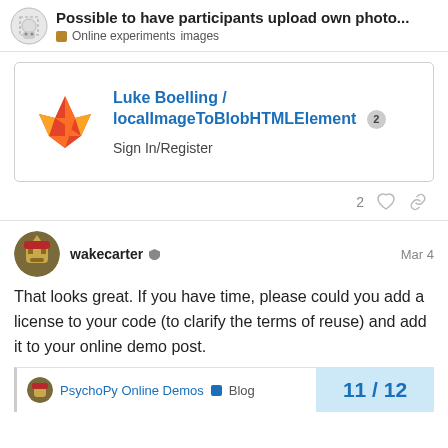Possible to have participants upload own photo... — Online experiments images
[Figure (screenshot): GitLab link card showing 'Luke Boelling / localImageToBlobHTMLElement' with badge 2 and 'Sign In/Register' text]
2 (likes)
wakecarter  Mar 4
That looks great. If you have time, please could you add a license to your code (to clarify the terms of reuse) and add it to your online demo post.
PsychoPy Online Demos  Blog  11 / 12